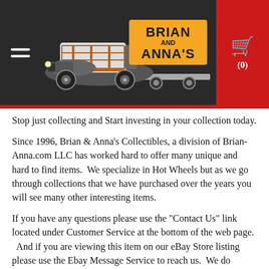[Figure (logo): Brian & Anna's Collectibles website header with a custom hot rod station wagon towing a trailer illustration, hamburger menu icon on left, shopping cart icon with (0) on red background panel on right, all on dark/black background.]
Stop just collecting and Start investing in your collection today.
Since 1996, Brian & Anna's Collectibles, a division of Brian-Anna.com LLC has worked hard to offer many unique and hard to find items.  We specialize in Hot Wheels but as we go through collections that we have purchased over the years you will see many other interesting items.
If you have any questions please use the "Contact Us" link located under Customer Service at the bottom of the web page.
And if you are viewing this item on our eBay Store listing please use the Ebay Message Service to reach us.  We do combine shipments to help reduce shipping cost.  And we